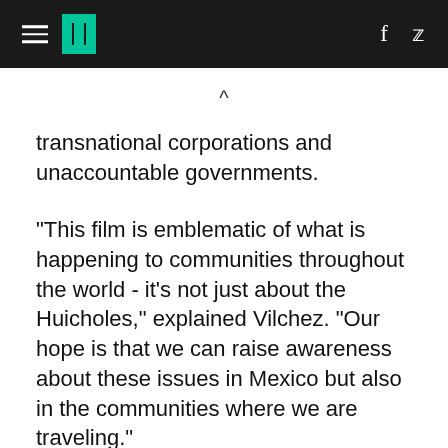HuffPost header with hamburger menu, logo, and social icons (f, twitter)
transnational corporations and unaccountable governments.
"This film is emblematic of what is happening to communities throughout the world - it's not just about the Huicholes," explained Vilchez. "Our hope is that we can raise awareness about these issues in Mexico but also in the communities where we are traveling."
Eduardo "Lalo" Guzmán, a longtime resident and steward of Wirikuta who has been at the forefront of the movement for the Huicholes...